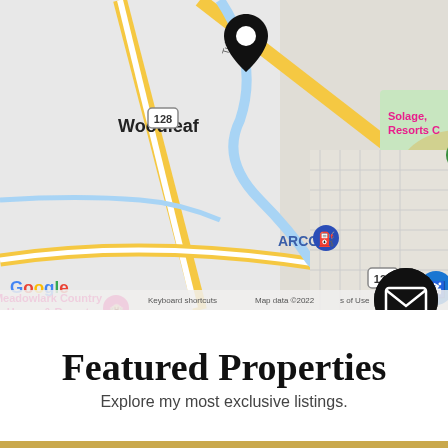[Figure (map): Google Maps screenshot showing area near Calistoga, CA including Woodleaf, Mt St. Helena Golf Course, ARCO gas station, Meadowlark Country House & Resort, Indian Springs Calistoga, Tank Garage Winery, and Solage Resorts. A black location pin marker is visible in the upper center of the map. Map data ©2022.]
Featured Properties
Explore my most exclusive listings.